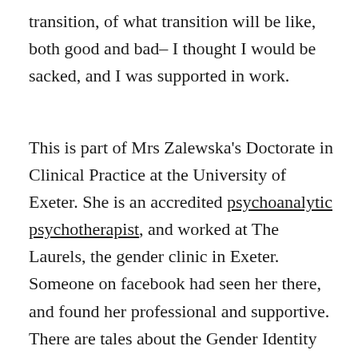transition, of what transition will be like, both good and bad– I thought I would be sacked, and I was supported in work.
This is part of Mrs Zalewska's Doctorate in Clinical Practice at the University of Exeter. She is an accredited psychoanalytic psychotherapist, and worked at The Laurels, the gender clinic in Exeter. Someone on facebook had seen her there, and found her professional and supportive. There are tales about the Gender Identity Development Service, of how some psychs left thinking it gave treatment too easily, but with that caveat I think